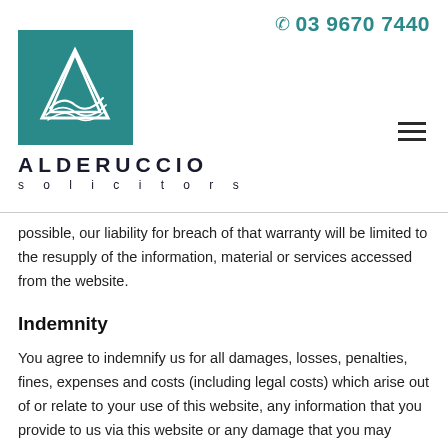03 9670 7440
[Figure (logo): Alderuccio Solicitors logo — teal square with stylized white letter A and flowing lines underneath, with firm name ALDERUCCIO solicitors below]
possible, our liability for breach of that warranty will be limited to the resupply of the information, material or services accessed from the website.
Indemnity
You agree to indemnify us for all damages, losses, penalties, fines, expenses and costs (including legal costs) which arise out of or relate to your use of this website, any information that you provide to us via this website or any damage that you may cause to this